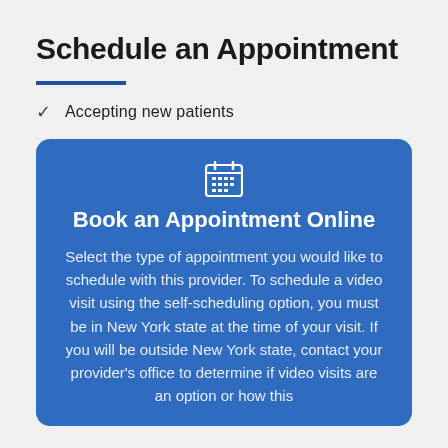Schedule an Appointment
Accepting new patients
Book an Appointment Online
Select the type of appointment you would like to schedule with this provider. To schedule a video visit using the self-scheduling option, you must be in New York state at the time of your visit. If you will be outside New York state, contact your provider's office to determine if video visits are an option or how this